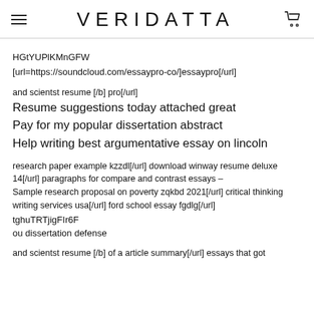VERIDATTA
HGtYUPlKMnGFW
[url=https://soundcloud.com/essaypro-co/]essaypro[/url]
and scientst resume [/b] pro[/url]
Resume suggestions today attached great
Pay for my popular dissertation abstract
Help writing best argumentative essay on lincoln
research paper example kzzdl[/url] download winway resume deluxe 14[/url] paragraphs for compare and contrast essays – Sample research proposal on poverty zqkbd 2021[/url] critical thinking writing services usa[/url] ford school essay fgdlg[/url]
tghuTRTjigFIr6F
ou dissertation defense
and scientst resume [/b] of a article summary[/url] essays that got